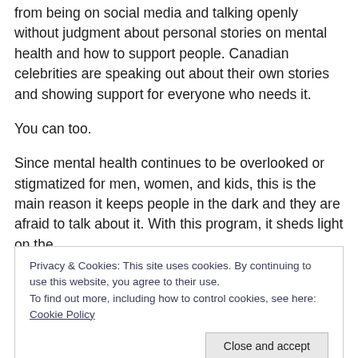from being on social media and talking openly without judgment about personal stories on mental health and how to support people.  Canadian celebrities are speaking out about their own stories and showing support for everyone who needs it.
You can too.
Since mental health continues to be overlooked or stigmatized for men, women, and kids, this is the main reason it keeps people in the dark and they are afraid to talk about it.  With this program, it sheds light on the
Privacy & Cookies: This site uses cookies. By continuing to use this website, you agree to their use.
To find out more, including how to control cookies, see here: Cookie Policy